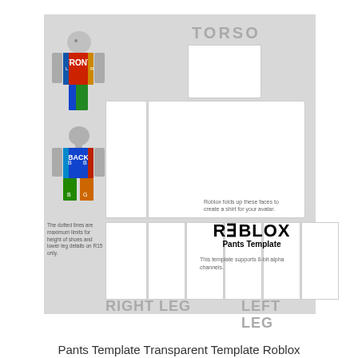[Figure (illustration): Roblox Pants Template layout showing torso, right leg, and left leg white panels on a gray background, with an avatar illustration on the left side showing front and back views with colored face labels (red FRONT, blue BACK, green, orange). Text annotations describe dotted line limits and face folding. Roblox logo and 'Pants Template' subtitle displayed. Labels: TORSO, RIGHT LEG, LEFT LEG.]
Pants Template Transparent Template Roblox